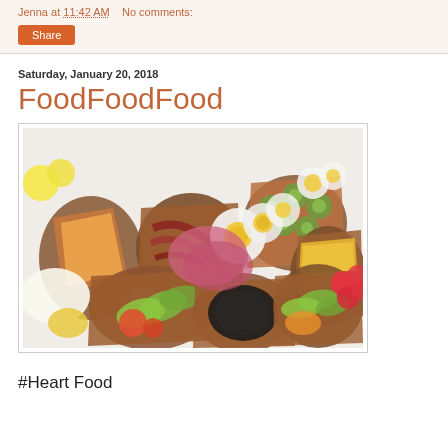Jenna at 11:42 AM   No comments:
Share
Saturday, January 20, 2018
FoodFoodFood
[Figure (photo): Overhead view of multiple open-faced sandwiches/toasts with various toppings including hard-boiled eggs, bacon, avocado, cucumbers, radishes, cheese, and other colorful ingredients, arranged on a white surface.]
#Heart Food